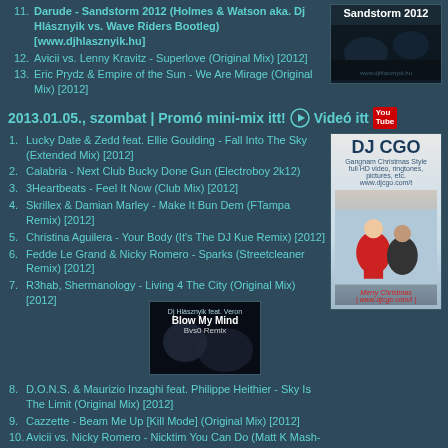11. Darude - Sandstorm 2012 (Holmes & Watson aka. Dj Hlásznyik vs. Wave Riders Bootleg) [www.djhlasznyik.hu]
12. Avicii vs. Lenny Kravitz - Superlove (Original Mix) [2012]
13. Eric Prydz & Empire of the Sun - We Are Mirage (Original Mix) [2012]
[Figure (photo): Sandstorm 2012 thumbnail with dark concert photo and www.djhlasznyik.hu watermark]
2013.01.05., szombat | Promó mini-mix itt! ▶ Videó itt [YouTube]
[Figure (photo): DJ CGO Gangnam Christmas Style promotional image with Santa and DJ]
1. Lucky Date & Zedd feat. Ellie Goulding - Fall Into The Sky (Extended Mix) [2012]
2. Calabria - Next Club Bucky Done Gun (Electroboy 2k12)
3. 3Heartbeats - Feel It Now (Club Mix) [2012]
4. Skrillex & Damian Marley - Make It Bun Dem (FTampa Remix) [2012]
5. Christina Aguilera - Your Body (It's The DJ Kue Remix) [2012]
6. Fedde Le Grand & Nicky Romero - Sparks (Streetcleaner Remix) [2012]
7. R3hab, Shermanology - Living 4 The City (Original Mix) [2012]
[Figure (photo): Dj Hlásznyik feat. Veron - Blow My Mind Bvs0 Remix thumbnail]
8. D.O.N.S. & Maurizio Inzaghi feat. Philippe Heithier - Sky Is The Limit (Original Mix) [2012]
9. Cazzette - Beam Me Up [Kill Mode] (Original Mix) [2012]
10. Avicii vs. Nicky Romero - Nicktim You Can Do (Matt K Mash-Up) [2012]
11. Sunnery James & Ryan Marciano - Lethal Industry (TV Noise Remix) [2012]
12. Dj Hlasznyik feat. Veron - Blow My Mind (Flickenhause Remix) [2012] [www.djhlasznyik.hu]
13. Paul Thomas feat. LadyStation - Motivation (Kash Trivedi Remix) [2012]
14. Nick Curly - Underground (B-sensual & No!end Remix) [2012]
[Figure (photo): Promotional thumbnail with woman and blue/purple gradient background]